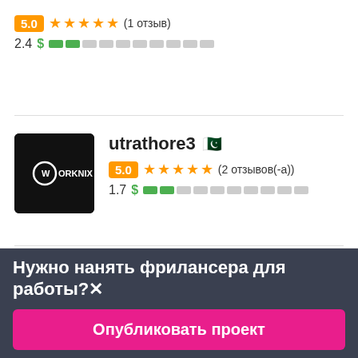5.0 ★★★★★ (1 отзыв)
2.4 $ ██░░░░░░░░
utrathore3 🇵🇰
5.0 ★★★★★ (2 отзывов(-а))
1.7 $ ██░░░░░░░░
Нужно нанять фрилансера для работы?✕
Опубликовать проект